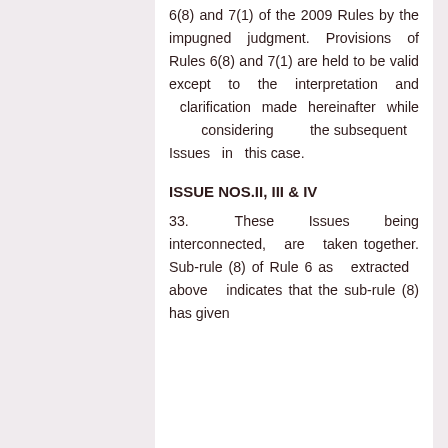6(8) and 7(1) of the 2009 Rules by the impugned judgment. Provisions of Rules 6(8) and 7(1) are held to be valid except to the interpretation and clarification made hereinafter while considering the subsequent Issues in this case.
ISSUE NOS.II, III & IV
33. These Issues being interconnected, are taken together. Sub-rule (8) of Rule 6 as extracted above indicates that the sub-rule (8) has given